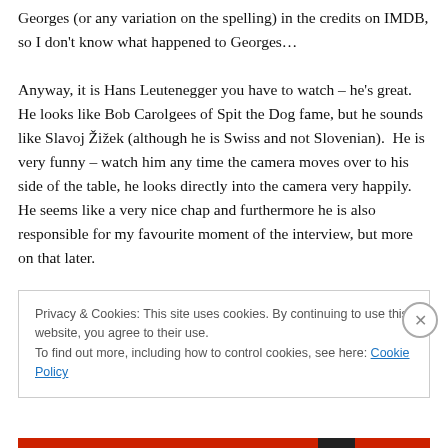Georges (or any variation on the spelling) in the credits on IMDB, so I don't know what happened to Georges…

Anyway, it is Hans Leutenegger you have to watch – he's great.  He looks like Bob Carolgees of Spit the Dog fame, but he sounds like Slavoj Žižek (although he is Swiss and not Slovenian).  He is very funny – watch him any time the camera moves over to his side of the table, he looks directly into the camera very happily.  He seems like a very nice chap and furthermore he is also responsible for my favourite moment of the interview, but more on that later.
Privacy & Cookies: This site uses cookies. By continuing to use this website, you agree to their use.
To find out more, including how to control cookies, see here: Cookie Policy